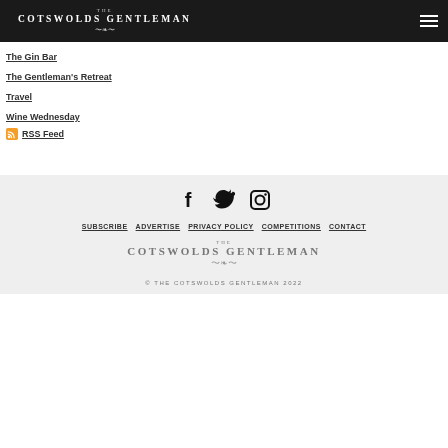THE COTSWOLDS GENTLEMAN
The Gin Bar
Travel
Wine Wednesday
RSS Feed
[Figure (illustration): Facebook, Twitter, Instagram social icons]
SUBSCRIBE | ADVERTISE | PRIVACY POLICY | COMPETITIONS | CONTACT
[Figure (logo): The Cotswolds Gentleman logo in grey]
© THE COTSWOLDS GENTLEMAN 2022